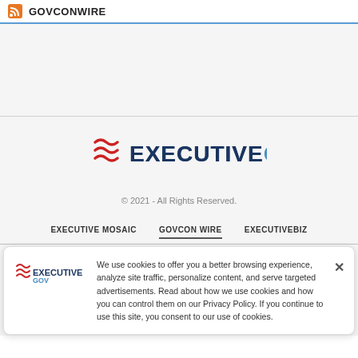GOVCONWIRE
[Figure (logo): ExecutiveGov logo with red wave marks and dark blue text]
© 2021 - All Rights Reserved.
EXECUTIVE MOSAIC   GOVCON WIRE   EXECUTIVEBIZ
We use cookies to offer you a better browsing experience, analyze site traffic, personalize content, and serve targeted advertisements. Read about how we use cookies and how you can control them on our Privacy Policy. If you continue to use this site, you consent to our use of cookies.